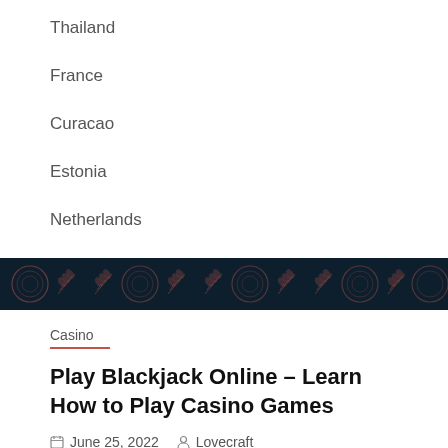Thailand
France
Curacao
Estonia
Netherlands
[Figure (illustration): Dark navy decorative banner with repeating casino/poker chip and wheat/laurel branch pattern in muted red-orange tones]
Casino
Play Blackjack Online – Learn How to Play Casino Games
June 25, 2022   Lovecraft